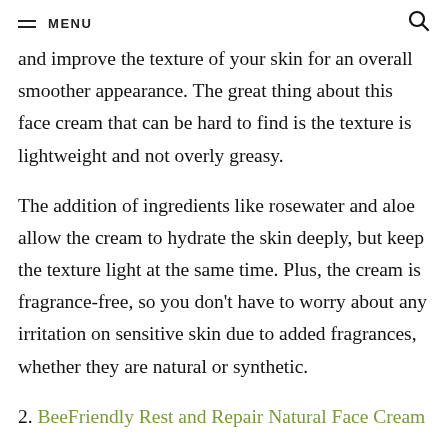≡ MENU  🔍
and improve the texture of your skin for an overall smoother appearance. The great thing about this face cream that can be hard to find is the texture is lightweight and not overly greasy.
The addition of ingredients like rosewater and aloe allow the cream to hydrate the skin deeply, but keep the texture light at the same time. Plus, the cream is fragrance-free, so you don't have to worry about any irritation on sensitive skin due to added fragrances, whether they are natural or synthetic.
2. BeeFriendly Rest and Repair Natural Face Cream